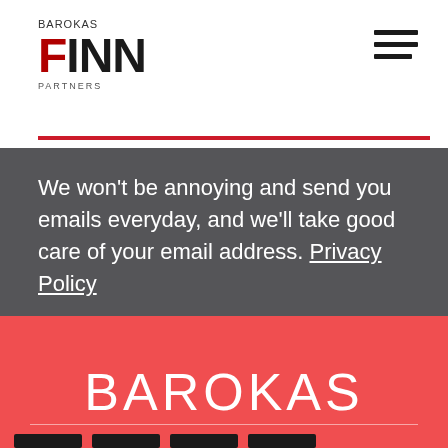BAROKAS FINN PARTNERS
We won't be annoying and send you emails everyday, and we'll take good care of your email address. Privacy Policy
BAROKAS